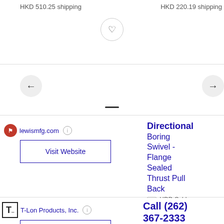HKD 510.25 shipping
HKD 220.19 shipping
lewismfg.com
Visit Website
Directional Boring Swivel - Flange Sealed Thrust Pull Back
Ad HDD Cable
T-Lon Products, Inc.
Visit Website
Call (262) 367-2333
Ad Unmatched
Call (262) 367-2333